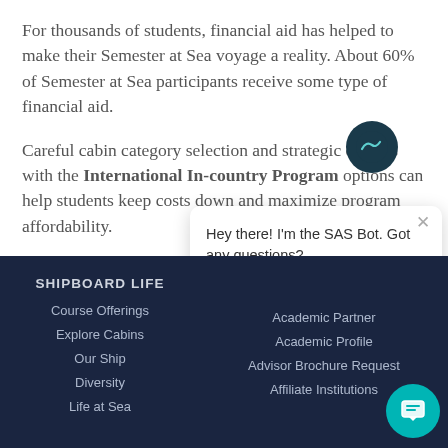For thousands of students, financial aid has helped to make their Semester at Sea voyage a reality. About 60% of Semester at Sea participants receive some type of financial aid.
Careful cabin category selection and strategic choices with the International In-country Program options can help students keep costs down and maximize program affordability.
SHIPBOARD LIFE | Course Offerings | Explore Cabins | Our Ship | Diversity | Life at Sea | Academic Partner | Academic Profile | Advisor Brochure Request | Affiliate Institutions
Hey there! I'm the SAS Bot. Got any questions?